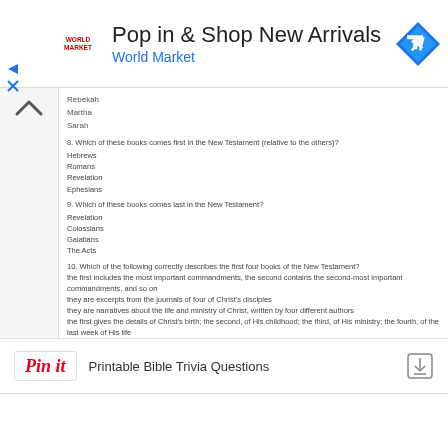[Figure (screenshot): World Market advertisement banner with logo, 'Pop in & Shop New Arrivals' headline, 'World Market' subtext, and navigation arrow icon]
Rebekah
Martha
Sarah
8. Which of these books comes first in the New Testament (relative to the others)?
Hebrews
Romans
Revelation
Ephesians
9. Which of these books comes last in the New Testament?
Revelation
Colossians
Galatians
The Acts
10. Which of the following correctly describes the first four books of the New Testament?
the first includes the most important commandments, the second contains the second-most important commandments, and so on
they are excerpts from the journals of four of Christ's disciples
they are narratives about the life and ministry of Christ, written by four different authors
the first gives the details of Christ's birth; the second, of His childhood; the third, of His ministry; the fourth, of the last week of His life
Printable Bible Trivia Questions